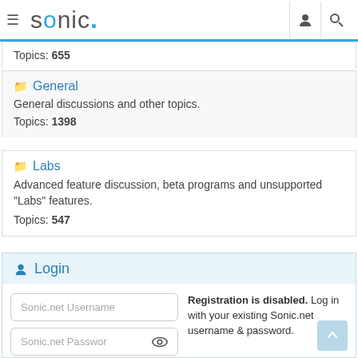sonic. (navigation header with hamburger menu, logo, user icon, search icon)
Topics: 655
General — General discussions and other topics. Topics: 1398
Labs — Advanced feature discussion, beta programs and unsupported "Labs" features. Topics: 547
Login
Registration is disabled. Log in with your existing Sonic.net username & password.